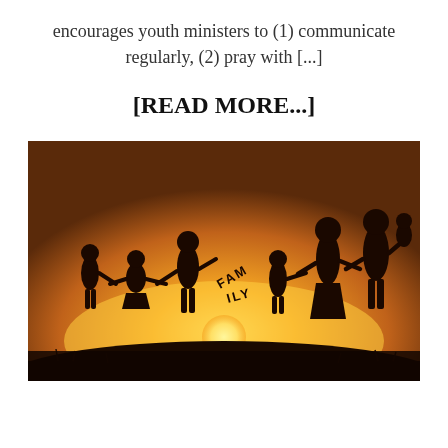encourages youth ministers to (1) communicate regularly, (2) pray with [...]
[READ MORE...]
[Figure (photo): Silhouette of a family holding hands at sunset on a hilltop. Seven figures of varying heights (adults and children) are shown in silhouette against a warm golden-orange sunset sky. One figure holds a banner reading 'FAMILY'. The sun is visible near the horizon in the center background.]